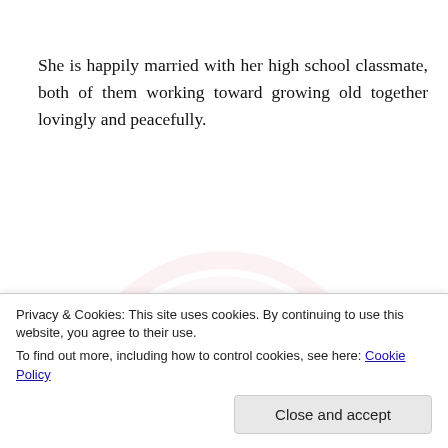She is happily married with her high school classmate, both of them working toward growing old together lovingly and peacefully.
[Figure (illustration): Faint concentric rainbow/arc watermark in pink/red tones in background]
Aaron's Oracle for 12th July 2013 Class
Choice of Word:
Self (1) ;Soon (4) : Imagine (5)
Privacy & Cookies: This site uses cookies. By continuing to use this website, you agree to their use.
To find out more, including how to control cookies, see here: Cookie Policy
Close and accept